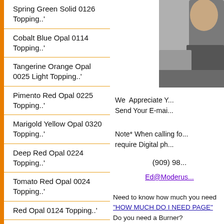Spring Green Solid 0126 Topping..'
Cobalt Blue Opal 0114 Topping..'
Tangerine Orange Opal 0025 Light Topping..'
Pimento Red Opal 0225 Topping..'
Marigold Yellow Opal 0320 Topping..'
Deep Red Opal 0224 Topping..'
Tomato Red Opal 0024 Topping..'
Red Opal 0124 Topping..'
Cerulean Blue G026F3 Topping..'
Chameleon G138F3 Topping..'
[Figure (photo): Partial photo of a person, cropped at right edge]
We Appreciate Y... Send Your E-mai...
Note* When calling fo... require Digital ph...
(909) 98...
Ed@Moderus...
Need to know how much you need "HOW MUCH DO I NEED PAGE"
Do you need a Burner?